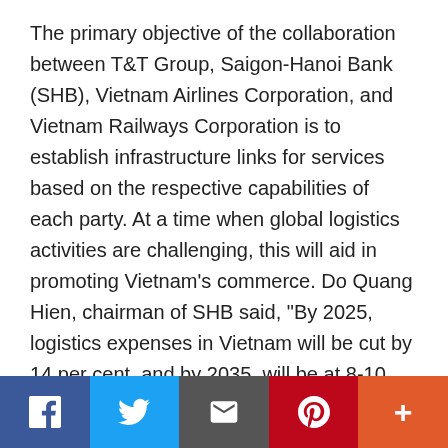The primary objective of the collaboration between T&T Group, Saigon-Hanoi Bank (SHB), Vietnam Airlines Corporation, and Vietnam Railways Corporation is to establish infrastructure links for services based on the respective capabilities of each party. At a time when global logistics activities are challenging, this will aid in promoting Vietnam's commerce. Do Quang Hien, chairman of SHB said, "By 2025, logistics expenses in Vietnam will be cut by 14 per cent, and by 2035, will be at 8-10 per cent – roughly equivalent to that of Singapore." According to Hien, cooperation to link the supply chain, innovate in terms of technology and manageability, and boost competitiveness by
[Figure (other): Social media sharing bar with Facebook, Twitter, Email, Pinterest, and More (+) buttons]